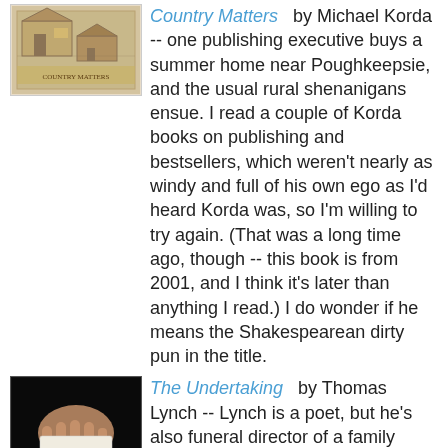[Figure (illustration): Book cover of Country Matters, partially visible at top, beige/tan colored illustration]
Country Matters by Michael Korda -- one publishing executive buys a summer home near Poughkeepsie, and the usual rural shenanigans ensue. I read a couple of Korda books on publishing and bestsellers, which weren't nearly as windy and full of his own ego as I'd heard Korda was, so I'm willing to try again. (That was a long time ago, though -- this book is from 2001, and I think it's later than anything I read.) I do wonder if he means the Shakespearean dirty pun in the title.
[Figure (illustration): Book cover of The Undertaking by Thomas Lynch -- dark/black cover with a hand holding a card and a coin below]
The Undertaking by Thomas Lynch -- Lynch is a poet, but he's also funeral director of a family